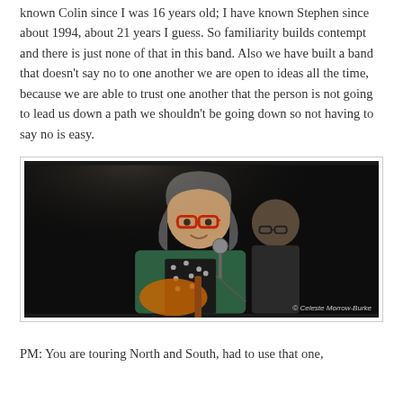known Colin since I was 16 years old; I have known Stephen since about 1994, about 21 years I guess. So familiarity builds contempt and there is just none of that in this band. Also we have built a band that doesn't say no to one another we are open to ideas all the time, because we are able to trust one another that the person is not going to lead us down a path we shouldn't be going down so not having to say no is easy.
[Figure (photo): Two musicians performing on stage. The foreground figure is a man with shoulder-length grey-streaked hair, red-rimmed glasses, wearing a green jacket and polka-dot shirt, singing into a microphone and playing guitar. Behind him is another person wearing dark-framed glasses. The background is very dark. Watermark reads: © Celeste Morrow-Burke]
PM: You are touring North and South, had to use that one,